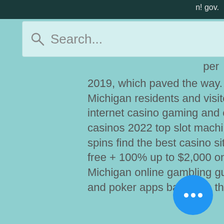n! gov.
[Figure (screenshot): Search bar with magnifying glass icon and placeholder text 'Search...']
[Figure (screenshot): Hamburger menu icon (three horizontal lines) on white background]
per
2019, which paved the way. Licensed internet gaming providers. Michigan residents and visitors can use this list to locate licensed internet casino gaming and online sports betting. Best michigan online casinos 2022 top slot machines great sign-up bonus offers &amp; free spins find the best casino sites. Draftkings casino, none - use links, $60 free + 100% up to $2,000 on deposit. Fanduel casino, none - use. Michigan online gambling guide - top mi gambling sites, sports betting and poker apps based on the independent reviews of our experts
The Royal Motel is ideally situated at 130 Walker Street in Casino in 117 m from t The cost of living in The Royal Motel depends on the date, rate, coil slot water
[Figure (screenshot): Blue circular chat/message button with three white dots (ellipsis)]